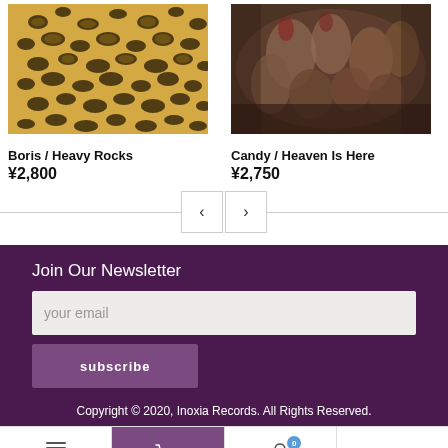[Figure (photo): Leopard print fabric pattern in yellow, black, and brown]
Boris / Heavy Rocks
¥2,800
[Figure (photo): Dark painting showing multiple human figures in a crowded scene]
Candy / Heaven Is Here
¥2,750
Join Our Newsletter
your email
subscribe
Copyright © 2020, Inoxia Records. All Rights Reserved.
Rewards